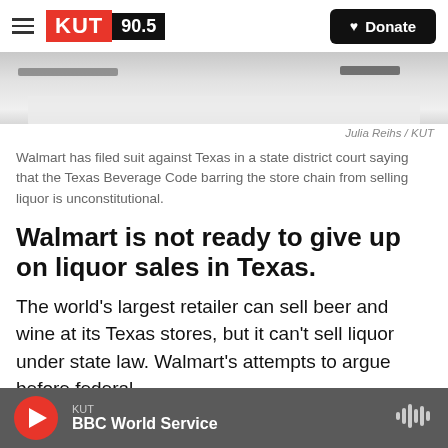KUT 90.5 | Donate
[Figure (photo): Partial photo of items on a light surface, cropped at top]
Julia Reihs / KUT
Walmart has filed suit against Texas in a state district court saying that the Texas Beverage Code barring the store chain from selling liquor is unconstitutional.
Walmart is not ready to give up on liquor sales in Texas.
The world's largest retailer can sell beer and wine at its Texas stores, but it can't sell liquor under state law. Walmart's attempts to argue before federal courts that the state's curbs on alcohol sales is
KUT BBC World Service